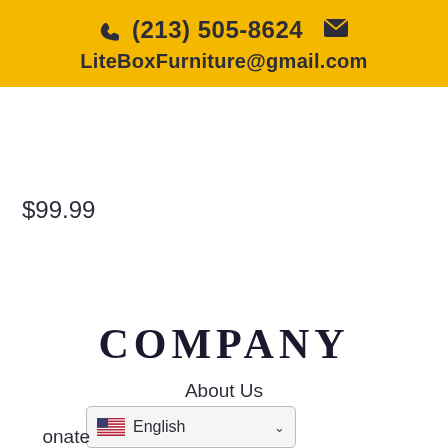☎ (213) 505-8624  ✉  LiteBoxFurniture@gmail.com
$99.99
COMPANY
About Us
News
Upcoming Film
onate
English